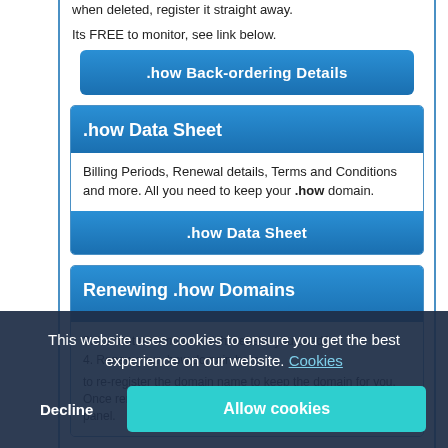when deleted, register it straight away.
Its FREE to monitor, see link below.
.how Back-ordering Details
.how Data Sheet
Billing Periods, Renewal details, Terms and Conditions and more. All you need to keep your .how domain.
.how Data Sheet
Renewing .how Domains
3. Cannot remember which website you used?
4. Renew your .how domain here.
to re-register the domain name to keep the domain for you. Once renewed we will give you a new password for control panel.
This website uses cookies to ensure you get the best experience on our website. Cookies
Decline
Allow cookies